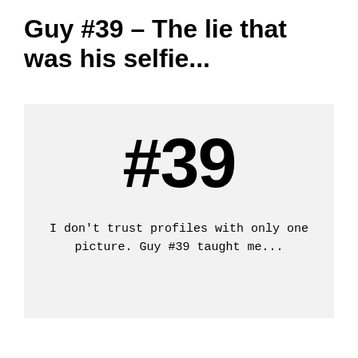Guy #39 – The lie that was his selfie...
[Figure (illustration): A light gray box containing the bold text '#39' in large black font, followed by italic monospace text reading: I don't trust profiles with only one picture. Guy #39 taught me...]